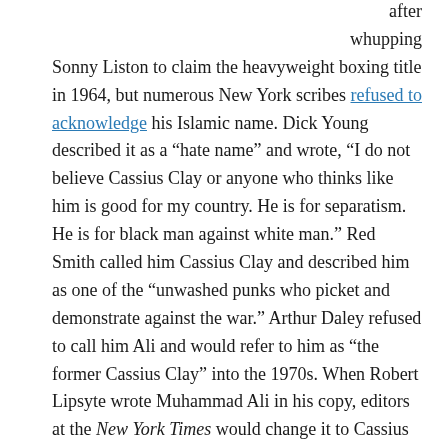after whupping Sonny Liston to claim the heavyweight boxing title in 1964, but numerous New York scribes refused to acknowledge his Islamic name. Dick Young described it as a “hate name” and wrote, “I do not believe Cassius Clay or anyone who thinks like him is good for my country. He is for separatism. He is for black man against white man.” Red Smith called him Cassius Clay and described him as one of the “unwashed punks who picket and demonstrate against the war.” Arthur Daley refused to call him Ali and would refer to him as “the former Cassius Clay” into the 1970s. When Robert Lipsyte wrote Muhammad Ali in his copy, editors at the New York Times would change it to Cassius Clay. The Times refused to accept Muhammad Ali as his official name until 1970. The great Jim Murray of